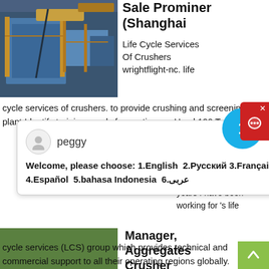[Figure (photo): Industrial crusher/screening plant equipment, blue machinery with orange structural elements and stairs]
Sale Prominer (Shanghai
Life Cycle Services Of Crushers wrightflight-nc. life cycle services of crushers. to provide crushing and screening plant Identify training needs for continuous Used 100 Tph
[Figure (screenshot): Chat popup with avatar labeled peggy, showing multilingual welcome message: Welcome, please choose: 1.English 2.Русский 3.Français 4.Español 5.bahasa Indonesia 6.عربی]
[Figure (photo): Industrial plant/crusher facility with stone walls and metal structures]
Manager, Aggregates Crusher
About. For the past 2 years I have been working for 's life cycle services (LCS) group which provides technical and commercial support to all their operating regions globally.